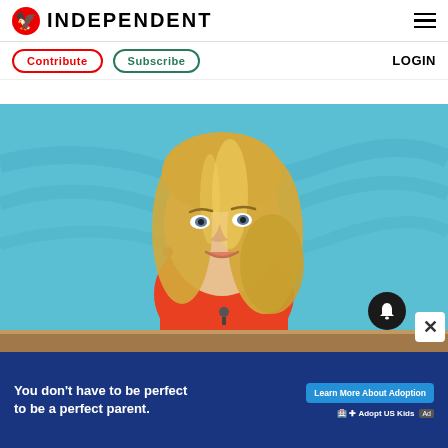INDEPENDENT
Contribute | Subscribe | LOGIN
[Figure (photo): Blonde woman in red dress on a blue background, appearing to be a TV broadcast or interview setting, with a bell notification button and close X button overlaid]
You don't have to be perfect to be a perfect parent. Learn More About Adoption. Adopt US Kids.